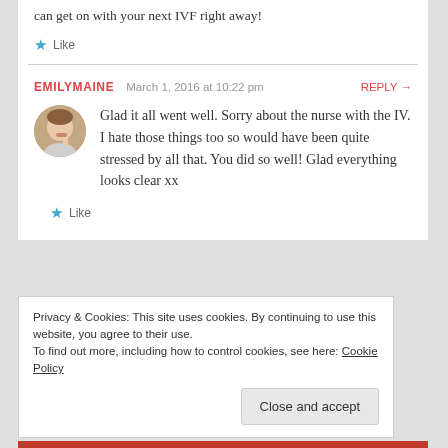can get on with your next IVF right away!
Like
EMILYMAINE  March 1, 2016 at 10:22 pm  REPLY →
[Figure (photo): Avatar photo of person with finger to lips]
Glad it all went well. Sorry about the nurse with the IV. I hate those things too so would have been quite stressed by all that. You did so well! Glad everything looks clear xx
Like
Privacy & Cookies: This site uses cookies. By continuing to use this website, you agree to their use. To find out more, including how to control cookies, see here: Cookie Policy
Close and accept